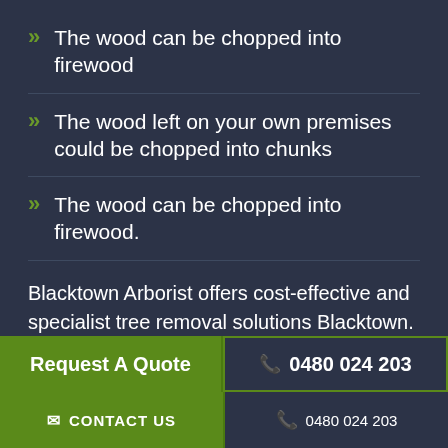The wood can be chopped into firewood
The wood left on your own premises could be chopped into chunks
The wood can be chopped into firewood.
Blacktown Arborist offers cost-effective and specialist tree removal solutions Blacktown. We guarantee our work is completed properly and the mess is tidied up before we exit your premises. Contact us now.
Request A Quote
0480 024 203
CONTACT US   0480 024 203